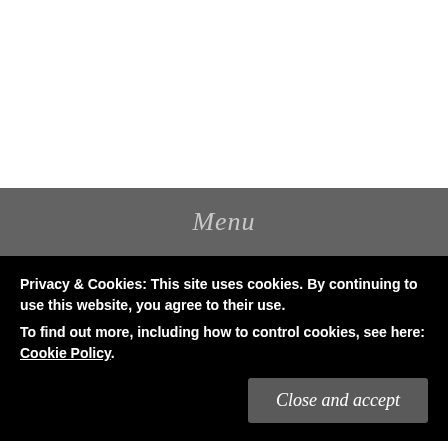[Figure (other): White space at top of page (navigation/header area)]
Menu
Central Park, New York – Complete guide for
Privacy & Cookies: This site uses cookies. By continuing to use this website, you agree to their use.
To find out more, including how to control cookies, see here: Cookie Policy.
Close and accept
the concrete jungle, makes Central park, one of the